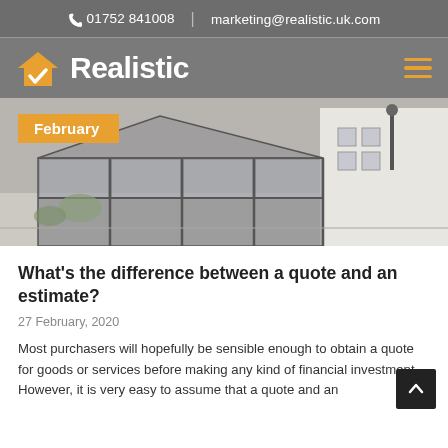📞 01752 841008  |  marketing@realistic.uk.com
[Figure (logo): Realistic company logo with orange house/checkmark icon and white bold text 'Realistic' on grey background, with hamburger menu icon on right]
[Figure (photo): Photo of a modern glass conservatory/orangery extension attached to a white house, with grey aluminium frames, viewed from outside on a patio. February badge overlaid in orange.]
What's the difference between a quote and an estimate?
27 February, 2020
Most purchasers will hopefully be sensible enough to obtain a quote for goods or services before making any kind of financial investment. However, it is very easy to assume that a quote and an